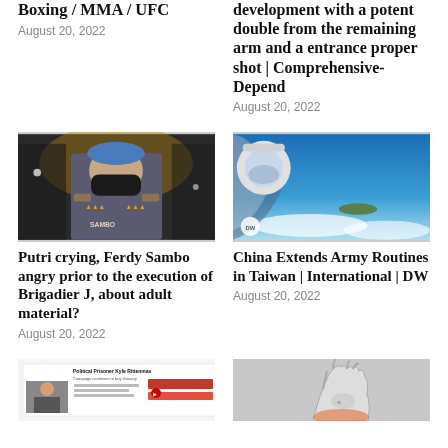Boxing / MMA / UFC
August 20, 2022
development with a potent double from the remaining arm and a entrance proper shot | Comprehensive-Depend
August 20, 2022
[Figure (photo): Police officer in uniform wearing a black face mask surrounded by media reporters]
[Figure (photo): Fighter pilot in cockpit with blue sky and ocean visible below, DW logo watermark]
Putri crying, Ferdy Sambo angry prior to the execution of Brigadier J, about adult material?
China Extends Army Routines in Taiwan | International | DW
August 20, 2022
August 20, 2022
[Figure (screenshot): Partial screenshot showing a political prisoner article with a photo of a man and red graphic elements]
[Figure (photo): Partial image of a hand held open, black and white photo]